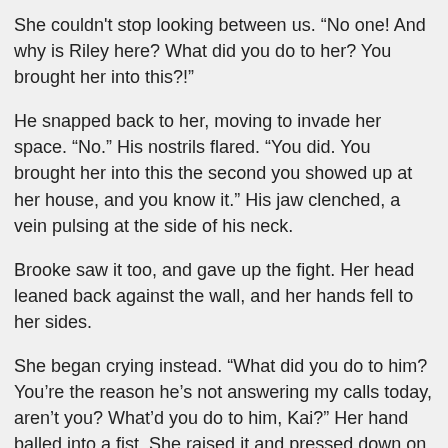She couldn't stop looking between us. “No one! And why is Riley here? What did you do to her? You brought her into this?!”
He snapped back to her, moving to invade her space. “No.” His nostrils flared. “You did. You brought her into this the second you showed up at her house, and you know it.” His jaw clenched, a vein pulsing at the side of his neck.
Brooke saw it too, and gave up the fight. Her head leaned back against the wall, and her hands fell to her sides.
She began crying instead. “What did you do to him? You’re the reason he’s not answering my calls today, aren’t you? What’d you do to him, Kai?” Her hand balled into a fist. She raised it and pressed down on his arm. “Please, Kai. Don’t hurt him. I love him. Please don’t hurt him.”
I backed away.